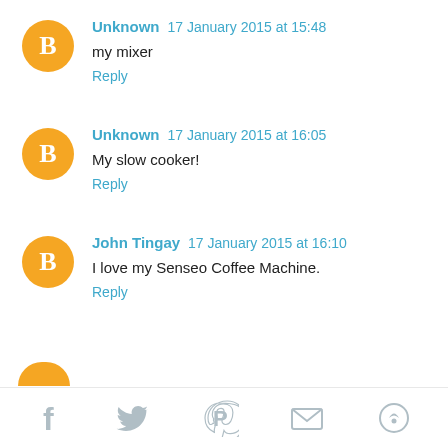Unknown 17 January 2015 at 15:48
my mixer
Reply
Unknown 17 January 2015 at 16:05
My slow cooker!
Reply
John Tingay 17 January 2015 at 16:10
I love my Senseo Coffee Machine.
Reply
[Figure (infographic): Social share bar at bottom with Facebook, Twitter, Pinterest, Email, and another share icon in light grey]